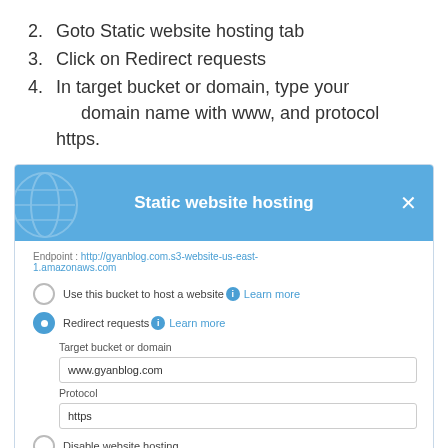2. Goto Static website hosting tab
3. Click on Redirect requests
4. In target bucket or domain, type your domain name with www, and protocol https.
[Figure (screenshot): Screenshot of AWS S3 Static website hosting dialog showing Redirect requests option selected, with target bucket 'www.gyanblog.com' and protocol 'https' filled in. Endpoint shown: http://gyanblog.com.s3-website-us-east-1.amazonaws.com]